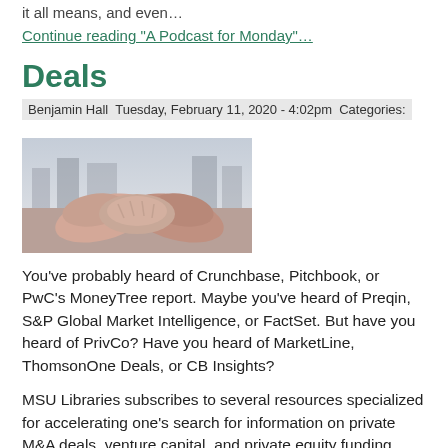it all means, and even…
Continue reading "A Podcast for Monday"…
Deals
Benjamin Hall  Tuesday, February 11, 2020 - 4:02pm  Categories:
[Figure (photo): A handshake between two people, representing business deals]
You've probably heard of Crunchbase, Pitchbook, or PwC's MoneyTree report. Maybe you've heard of Preqin, S&P Global Market Intelligence, or FactSet. But have you heard of PrivCo? Have you heard of MarketLine, ThomsonOne Deals, or CB Insights?
MSU Libraries subscribes to several resources specialized for accelerating one's search for information on private M&A deals, venture capital, and private equity funding rounds.  Here's a rundown:
PrivCo